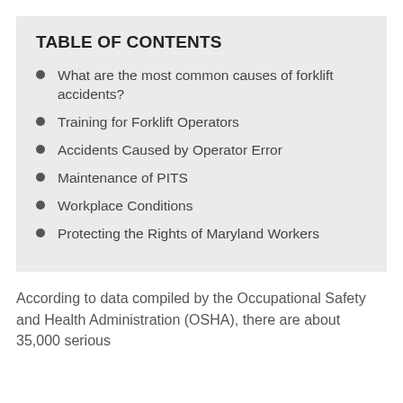TABLE OF CONTENTS
What are the most common causes of forklift accidents?
Training for Forklift Operators
Accidents Caused by Operator Error
Maintenance of PITS
Workplace Conditions
Protecting the Rights of Maryland Workers
According to data compiled by the Occupational Safety and Health Administration (OSHA), there are about 35,000 serious